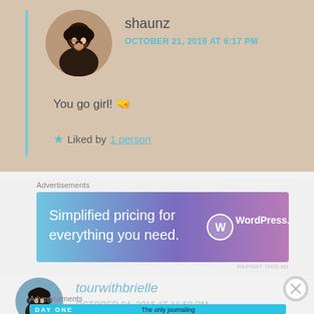[Figure (screenshot): Comment block with user avatar (shaunz), username, date, comment text, and like count on beige/tan background]
shaunz
OCTOBER 21, 2016 AT 6:17 PM
You go girl! 🤜
Liked by 1 person
[Figure (screenshot): WordPress.com advertisement banner: 'Simplified pricing for everything you need. WordPress.com']
Advertisements
REPORT THIS AD
tourwithbrielle
OCTOBER 04, 2016 AT 11:50 PM
[Figure (screenshot): DAY ONE journaling app advertisement: 'The only journaling app you'll ever need.']
Advertisements
REPORT THIS AD